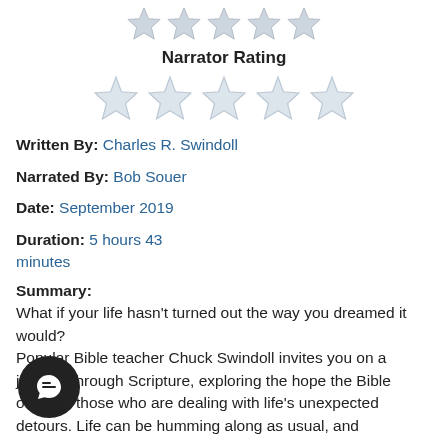[Figure (other): Five partially visible stars at the top (rating widget clipped at top)]
Narrator Rating
[Figure (other): Five empty/unfilled stars for narrator rating]
Written By: Charles R. Swindoll
Narrated By: Bob Souer
Date: September 2019
Duration: 5 hours 43 minutes
Summary:
What if your life hasn't turned out the way you dreamed it would?
Popular Bible teacher Chuck Swindoll invites you on a journey through Scripture, exploring the hope the Bible offers to those who are dealing with life's unexpected detours. Life can be humming along as usual, and